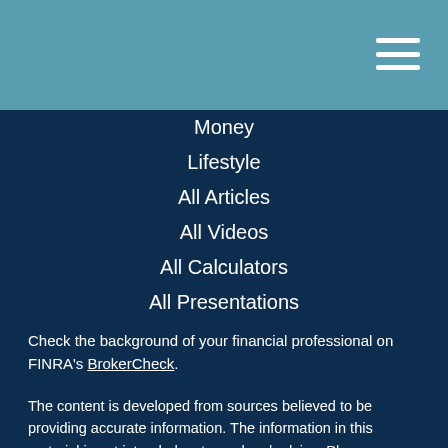Navigation menu header bar
Money
Lifestyle
All Articles
All Videos
All Calculators
All Presentations
Check the background of your financial professional on FINRA's BrokerCheck.
The content is developed from sources believed to be providing accurate information. The information in this material is not intended as tax or legal advice. Please consult legal or tax professionals for specific information regarding your individual situation. Some of this material was developed and produced by FMG Suite to provide information on a topic that may be of interest. FMG Suite is not affiliated with the named representative, broker - dealer, state - or SEC - registered investment advisory firm. The opinions expressed and material provided are for general information, and should not be considered a solicitation for the